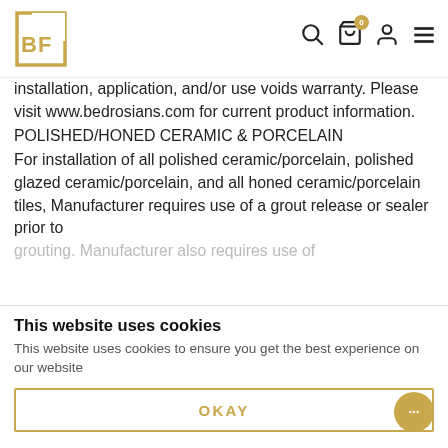BF logo and navigation icons (search, cart with 0 badge, user, menu)
installation, application, and/or use voids warranty. Please visit www.bedrosians.com for current product information.
POLISHED/HONED CERAMIC & PORCELAIN
For installation of all polished ceramic/porcelain, polished glazed ceramic/porcelain, and all honed ceramic/porcelain tiles, Manufacturer requires use of a grout release or sealer prior to grouting. Manufacturer also requires use of…
This website uses cookies
This website uses cookies to ensure you get the best experience on our website
OKAY